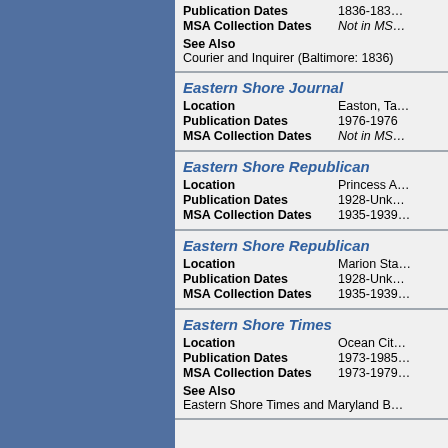Publication Dates: 1836-183...
MSA Collection Dates: Not in MS...
See Also
Courier and Inquirer (Baltimore: 1836)
Eastern Shore Journal
Location: Easton, Ta...
Publication Dates: 1976-1976
MSA Collection Dates: Not in MS...
Eastern Shore Republican
Location: Princess A...
Publication Dates: 1928-Unk...
MSA Collection Dates: 1935-1939...
Eastern Shore Republican
Location: Marion Sta...
Publication Dates: 1928-Unk...
MSA Collection Dates: 1935-1939...
Eastern Shore Times
Location: Ocean Cit...
Publication Dates: 1973-1985...
MSA Collection Dates: 1973-1979...
See Also
Eastern Shore Times and Maryland B...